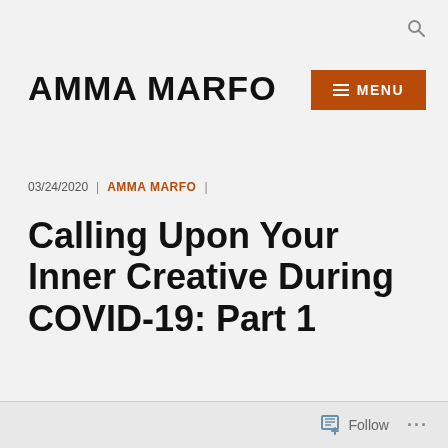AMMA MARFO
03/24/2020 | AMMA MARFO |
Calling Upon Your Inner Creative During COVID-19: Part 1
Follow ...